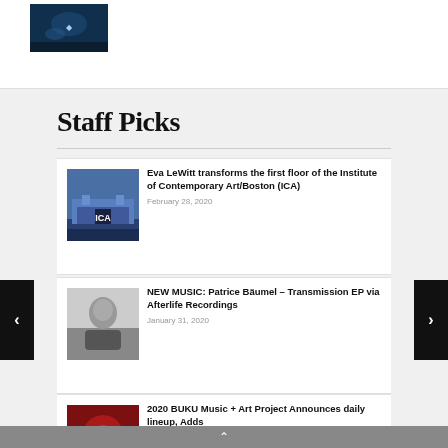[Figure (photo): Dark blue/underwater themed thumbnail image at top left]
Staff Picks
Eva LeWitt transforms the first floor of the Institute of Contemporary Art/Boston (ICA)
February 28, 2020
NEW MUSIC: Patrice Bäumel – Transmission EP via Afterlife Recordings
January 31, 2020
2020 BUKU Music + Art Project Announces daily lineup, Adds